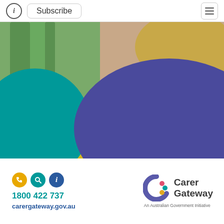Subscribe
[Figure (photo): A woman with blonde hair looking down, wearing a patterned blue top, with green plants in background. Decorative teal, yellow, and purple arc shapes overlay the bottom of the image.]
1800 422 737
carergateway.gov.au
[Figure (logo): Carer Gateway logo - circular C shape with coloured dots (pink, teal, yellow), text 'Carer Gateway', subtext 'An Australian Government Initiative']